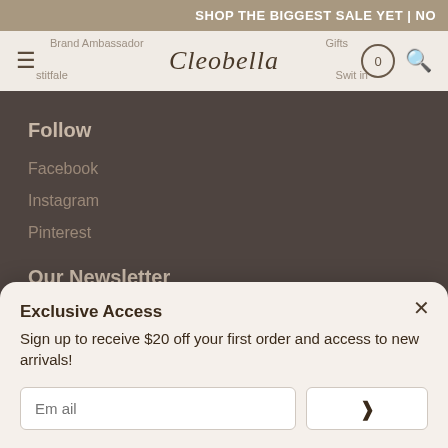SHOP THE BIGGEST SALE YET | NO
[Figure (screenshot): Cleobella website navigation bar with hamburger menu, logo in cursive script, cart icon showing 0 items, and search icon. Faded nav links visible: Brand Ambassador, Gifts, and others.]
Follow
Facebook
Instagram
Pinterest
Our Newsletter
Sign up for our emails to receive $20 off your first order!
Exclusive Access
Sign up to receive $20 off your first order and access to new arrivals!
Em ail